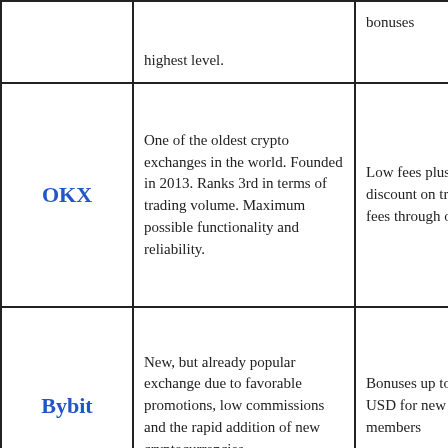| Exchange | Description | Bonus/Offer |
| --- | --- | --- |
|  | …highest level. | bonuses |
| OKX | One of the oldest crypto exchanges in the world. Founded in 2013. Ranks 3rd in terms of trading volume. Maximum possible functionality and reliability. | Low fees plus 20% discount on trading fees through our link |
| Bybit | New, but already popular exchange due to favorable promotions, low commissions and the rapid addition of new cryptocurrencies. | Bonuses up to 600 USD for new members |
|  |  | $ 50 bonus and 25 test dollars upon registration. 1000 |